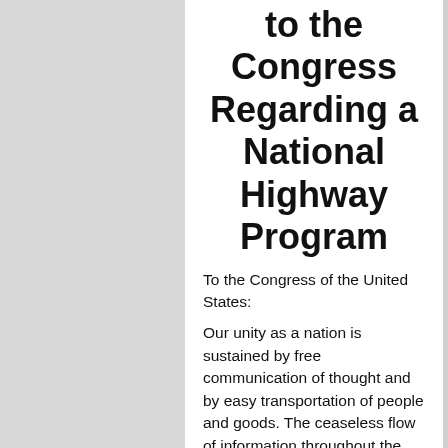to the Congress Regarding a National Highway Program
To the Congress of the United States:
Our unity as a nation is sustained by free communication of thought and by easy transportation of people and goods. The ceaseless flow of information throughout the Republic is matched by individual and commercial movement over a vast system of interconnected highways criss-crossing the Country and joining at our national borders with friendly neighbors to the north and south.